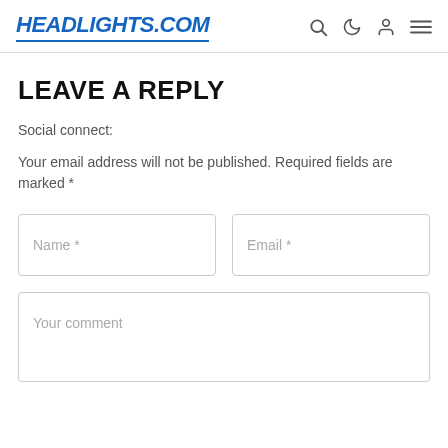HEADLIGHTS.COM
LEAVE A REPLY
Social connect:
Your email address will not be published. Required fields are marked *